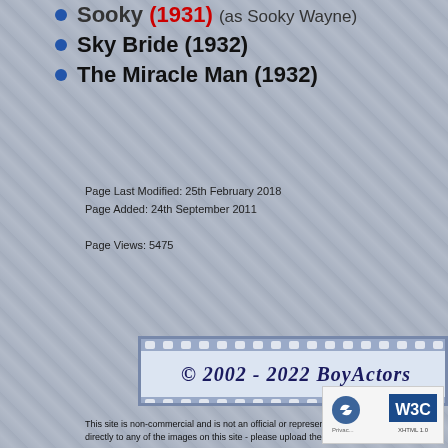Sooky (1931) (as Sooky Wayne)
Sky Bride (1932)
The Miracle Man (1932)
Page Last Modified: 25th February 2018
Page Added: 24th September 2011

Page Views: 5475
[Figure (other): Filmstrip banner with copyright text: © 2002 - 2022 BoyActors]
This site is non-commercial and is not an official or representative web... directly to any of the images on this site - please upload them to your ow...
While every effort will be made to ensure that no offensive or illegal ma... content posted or linked to by its members.
PHORM PROHIBITED
The contents of this site, and communications between this site and its ... of the Regulation of Investigatory Powers Act 2000. The use of those c... other purposes is strictly forbidden.
Design and Layout © 2002 - 2007: Bijou, 2007 - 2022: Quantum
[Figure (logo): W3C logo badge with privacy/reCAPTCHA icon in bottom right corner]